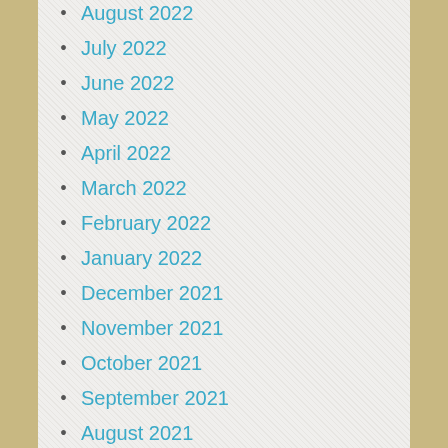August 2022
July 2022
June 2022
May 2022
April 2022
March 2022
February 2022
January 2022
December 2021
November 2021
October 2021
September 2021
August 2021
July 2021
June 2021
May 2021
April 2021
March 2021
February 2021
January 2021